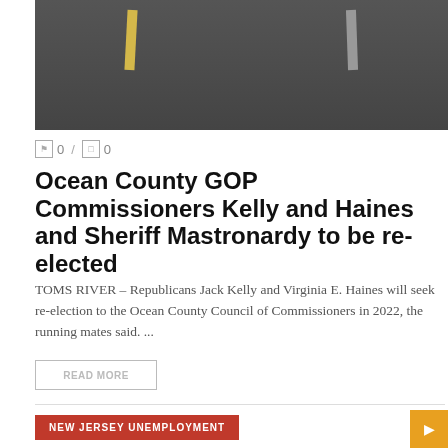[Figure (photo): Group photo of men in dark suits, one with a yellow tie and one with a gray/houndstooth tie, standing together]
0 / 0
Ocean County GOP Commissioners Kelly and Haines and Sheriff Mastronardy to be re-elected
TOMS RIVER – Republicans Jack Kelly and Virginia E. Haines will seek re-election to the Ocean County Council of Commissioners in 2022, the running mates said. ...
READ MORE
NEW JERSEY UNEMPLOYMENT